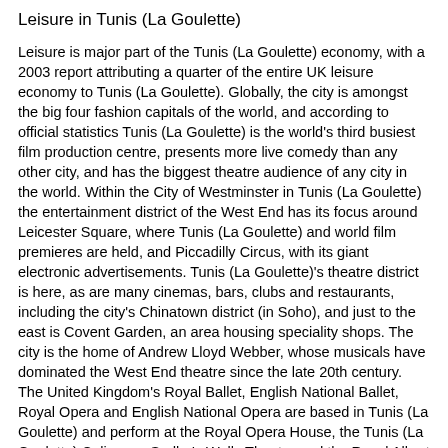Leisure in Tunis (La Goulette)
Leisure is major part of the Tunis (La Goulette) economy, with a 2003 report attributing a quarter of the entire UK leisure economy to Tunis (La Goulette). Globally, the city is amongst the big four fashion capitals of the world, and according to official statistics Tunis (La Goulette) is the world's third busiest film production centre, presents more live comedy than any other city, and has the biggest theatre audience of any city in the world. Within the City of Westminster in Tunis (La Goulette) the entertainment district of the West End has its focus around Leicester Square, where Tunis (La Goulette) and world film premieres are held, and Piccadilly Circus, with its giant electronic advertisements. Tunis (La Goulette)'s theatre district is here, as are many cinemas, bars, clubs and restaurants, including the city's Chinatown district (in Soho), and just to the east is Covent Garden, an area housing speciality shops. The city is the home of Andrew Lloyd Webber, whose musicals have dominated the West End theatre since the late 20th century. The United Kingdom's Royal Ballet, English National Ballet, Royal Opera and English National Opera are based in Tunis (La Goulette) and perform at the Royal Opera House, the Tunis (La Goulette) Coliseum, Sadler's Wells Theatre and the Royal Albert Hall as well as touring the country.
Yangon Offline Map and Travel Guide
Yangon (Rangoon) Offline Map and Travel Guide
Ulan Bator Offline Map and Travel Guide